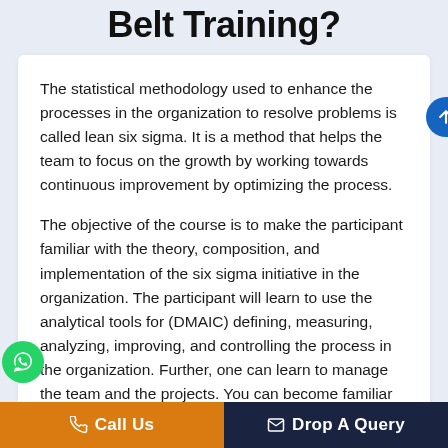Belt Training?
The statistical methodology used to enhance the processes in the organization to resolve problems is called lean six sigma. It is a method that helps the team to focus on the growth by working towards continuous improvement by optimizing the process.
The objective of the course is to make the participant familiar with the theory, composition, and implementation of the six sigma initiative in the organization. The participant will learn to use the analytical tools for (DMAIC) defining, measuring, analyzing, improving, and controlling the process in the organization. Further, one can learn to manage the team and the projects. You can become familiar with the ways to lead complex processes
Call Us   Drop A Query